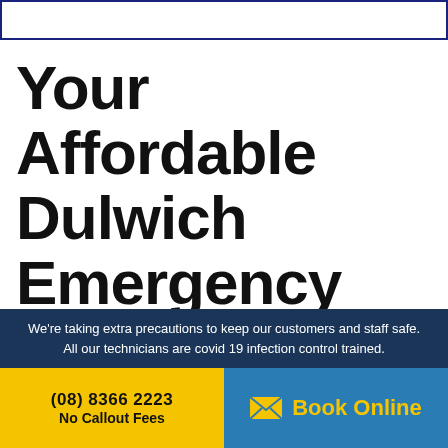Your Affordable Dulwich Emergency Plumber
from
We're taking extra precautions to keep our customers and staff safe. All our technicians are covid 19 infection control trained.
(08) 8366 2223
No Callout Fees
Book Online